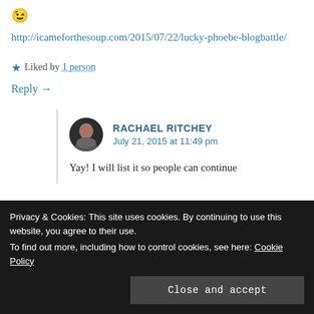😉
http://icameforthesoup.com/2015/07/22/lucky-phoebe-blogbattle/
★ Liked by 1 person
Reply →
RACHAEL RITCHEY
July 21, 2015 at 11:49 pm
Yay! I will list it so people can continue
Privacy & Cookies: This site uses cookies. By continuing to use this website, you agree to their use.
To find out more, including how to control cookies, see here: Cookie Policy
Close and accept